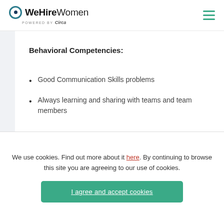WeHireWomen powered by Circa
Behavioral Competencies:
Good Communication Skills problems
Always learning and sharing with teams and team members
We use cookies. Find out more about it here. By continuing to browse this site you are agreeing to our use of cookies.
I agree and accept cookies